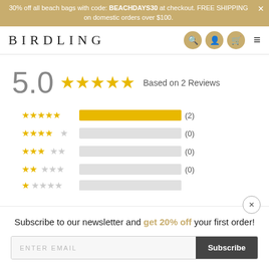30% off all beach bags with code: BEACHDAYS30 at checkout. FREE SHIPPING on domestic orders over $100.
BIRDLING
5.0  ★★★★★  Based on 2 Reviews
[Figure (bar-chart): Star rating distribution]
Subscribe to our newsletter and get 20% off your first order!
ENTER EMAIL
Subscribe